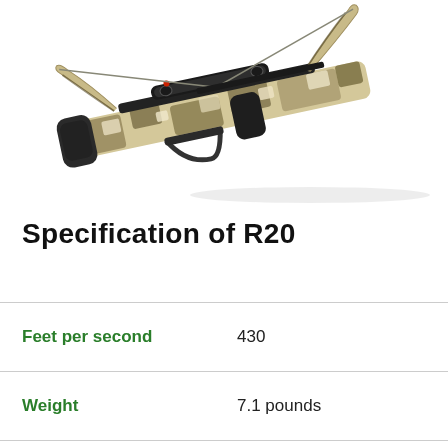[Figure (photo): Photo of a camouflage-patterned crossbow (R20 model) shown at an angle, with black stock and camo limbs, against a white background.]
Specification of R20
| Specification | Value |
| --- | --- |
| Feet per second | 430 |
| Weight | 7.1 pounds |
| Width Axle to Axle cocked | 6 inches |
| Width Axle to Axle... |  |